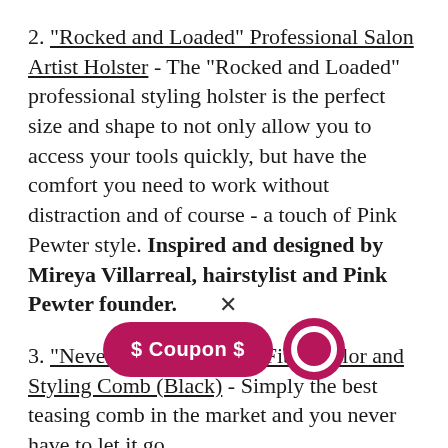2. "Rocked and Loaded" Professional Salon Artist Holster - The "Rocked and Loaded" professional styling holster is the perfect size and shape to not only allow you to access your tools quickly, but have the comfort you need to work without distraction and of course - a touch of Pink Pewter style. Inspired and designed by Mireya Villarreal, hairstylist and Pink Pewter founder.
3. "Never Let Go" Carbon Fibre Color and Styling Comb (Black) - Simply the best teasing comb in the market and you never have to let it go.
4. Bendable Magnetic Pin and Makeup Holder Bracelet - The strong magnets are great for holding bobby pins, makeup pans, and even your shears!
5. Creaseless Hair Styling Clips (Don't Mess with Me!) - Don't mess with me! These no crease hair clips are designed without teeth and have a unique smooth